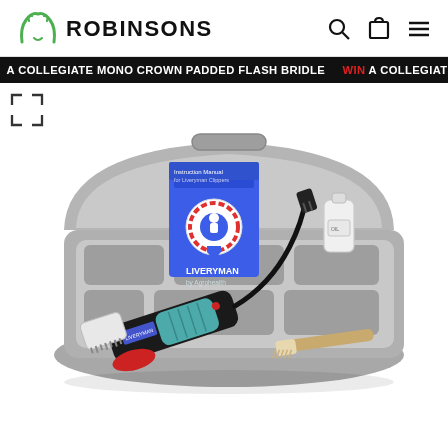[Figure (logo): Robinsons horse equipment retailer logo with horse head icon and text ROBINSONS]
ROBINSONS
WIN A COLLEGIATE MONO CROWN PADDED FLASH BRIDLE WIN A COLLEGIATE MONO CROWN PADDED FLASH BRIDLE
[Figure (photo): Liveryman by Agrohealth horse clipper kit in grey carry case, including clipper handpiece with teal body, instruction manual with award rosette logo, oil bottle, cleaning brush, and red guard piece.]